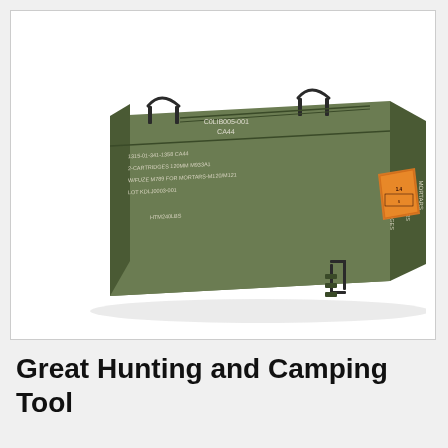[Figure (photo): A large military-style olive drab green metal ammunition can/box lying on its side. The box has wire bail handles and is stenciled with white military text including 'CARTRIDGES 120MM M933A1', 'W/FUZE M789 FOR MORTARS-M120/M121', stock numbers, and lot numbers. An orange hazmat warning label is visible on the right end. The can is photographed against a white background.]
Great Hunting and Camping Tool